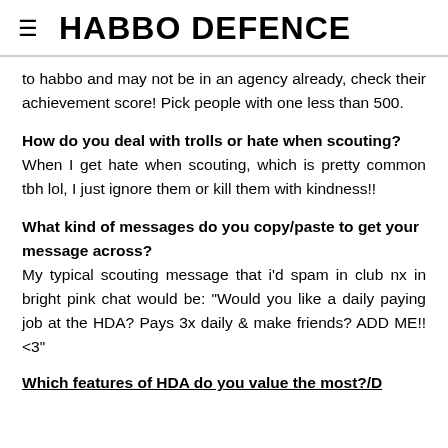HABBO DEFENCE
to habbo and may not be in an agency already, check their achievement score! Pick people with one less than 500.
How do you deal with trolls or hate when scouting?
When I get hate when scouting, which is pretty common tbh lol, I just ignore them or kill them with kindness!!
What kind of messages do you copy/paste to get your message across?
My typical scouting message that i'd spam in club nx in bright pink chat would be: "Would you like a daily paying job at the HDA? Pays 3x daily & make friends? ADD ME!! <3"
Which features of HDA do you value the most?/D...